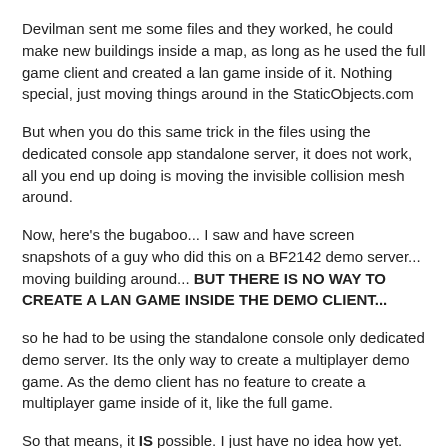Devilman sent me some files and they worked, he could make new buildings inside a map, as long as he used the full game client and created a lan game inside of it. Nothing special, just moving things around in the StaticObjects.com
But when you do this same trick in the files using the dedicated console app standalone server, it does not work, all you end up doing is moving the invisible collision mesh around.
Now, here's the bugaboo... I saw and have screen snapshots of a guy who did this on a BF2142 demo server... moving building around... BUT THERE IS NO WAY TO CREATE A LAN GAME INSIDE THE DEMO CLIENT...
so he had to be using the standalone console only dedicated demo server. Its the only way to create a multiplayer demo game. As the demo client has no feature to create a multiplayer game inside of it, like the full game.
So that means, it IS possible. I just have no idea how yet. My guess is he probably edited the BF2142 map using bfeditor. Which is messy and complicated.